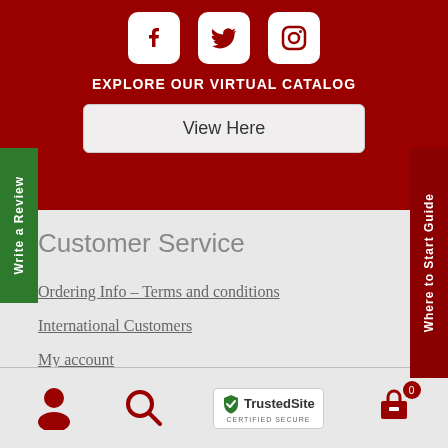[Figure (illustration): Social media icons: Facebook, Twitter, Instagram in white boxes on dark red background]
EXPLORE OUR VIRTUAL CATALOG
View Here
Write a Review
Where to Start Guide
Customer Service
Ordering Info – Terms and conditions
International Customers
My account
[Figure (illustration): Bottom navigation bar with user icon, search icon, TrustedSite CERTIFIED SECURE badge, and shopping cart icon with 0 badge]